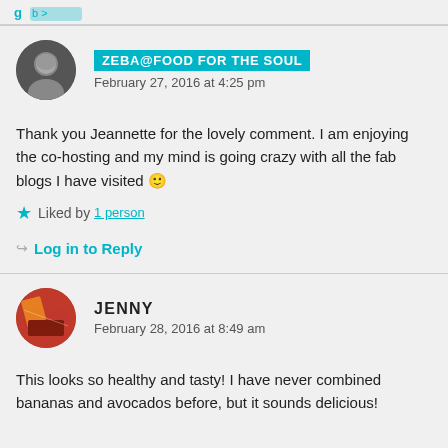ZEBA@FOOD FOR THE SOUL
February 27, 2016 at 4:25 pm
Thank you Jeannette for the lovely comment. I am enjoying the co-hosting and my mind is going crazy with all the fab blogs I have visited 🙂
Liked by 1 person
Log in to Reply
JENNY
February 28, 2016 at 8:49 am
This looks so healthy and tasty! I have never combined bananas and avocados before, but it sounds delicious!